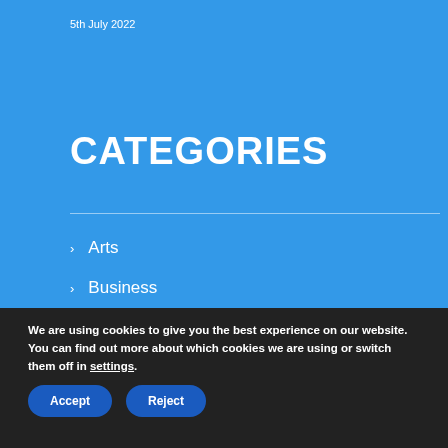5th July 2022
CATEGORIES
Arts
Business
charity
Consumer
Corporate
We are using cookies to give you the best experience on our website.
You can find out more about which cookies we are using or switch them off in settings.
Accept  Reject